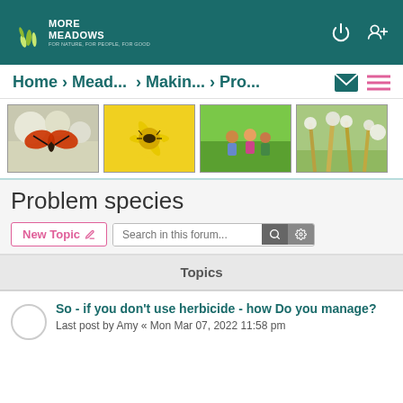More Meadows
Home › Mead... › Makin... › Pro...
[Figure (photo): Four thumbnail photos: red and black butterfly on white flowers, orange beetle on yellow dandelion, children looking at ground in grass, tall meadow grasses with white flowers]
Problem species
New Topic | Search in this forum...
Topics
So - if you don't use herbicide - how Do you manage?
Last post by Amy « Mon Mar 07, 2022 11:58 pm